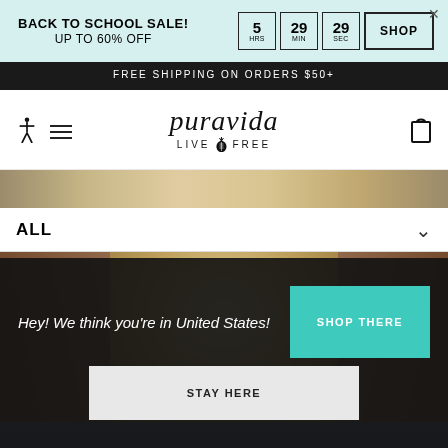BACK TO SCHOOL SALE! UP TO 60% OFF | 5 HRS 29 MIN 29 SEC | SHOP
FREE SHIPPING ON ORDERS $50+
puravida LIVE FREE
[Figure (photo): Partial top of product/lifestyle photo showing blurred warm-toned image]
ALL
[Figure (photo): Lifestyle photo of person holding a golden puppy/dog, wearing bracelets, in jeans and white top]
Hey! We think you're in United States!
SHOP THERE
STAY HERE